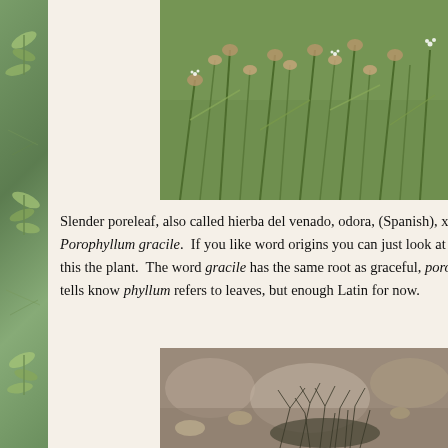[Figure (photo): Close-up photograph of Slender poreleaf (Porophyllum gracile) plant with thin green stems and small pinkish-white flower heads with wispy white seed plumes against a green background]
Slender poreleaf, also called hierba del venado, odora, (Spanish), xt... Porophyllum gracile.  If you like word origins you can just look at this the plant.  The word gracile has the same root as graceful, poro tells know phyllum refers to leaves, but enough Latin for now.
[Figure (photo): Photograph of Slender poreleaf (Porophyllum gracile) plant growing low to the ground among rocks, showing its fine, dark, wispy branching stems]